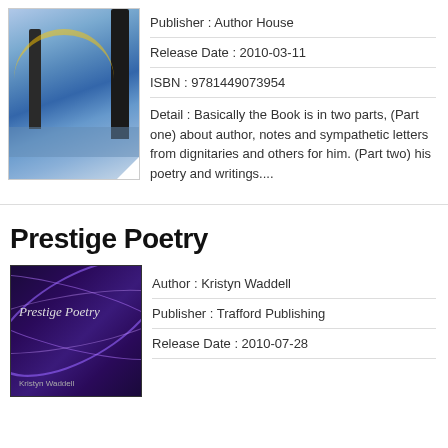[Figure (photo): Book cover with rainbow, trees, and winter landscape scene with page curl at bottom right]
Publisher : Author House
Release Date : 2010-03-11
ISBN : 9781449073954
Detail : Basically the Book is in two parts, (Part one) about author, notes and sympathetic letters from dignitaries and others for him. (Part two) his poetry and writings....
Prestige Poetry
[Figure (photo): Book cover with purple swirl patterns on dark background, title Prestige Poetry and author Kristyn Waddell]
Author : Kristyn Waddell
Publisher : Trafford Publishing
Release Date : 2010-07-28